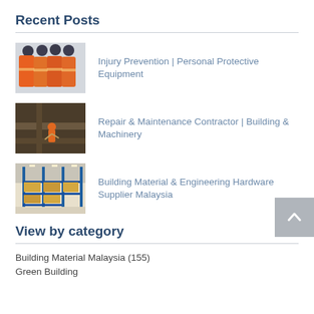Recent Posts
[Figure (photo): Orange safety vests and hard hats hanging on a wall]
Injury Prevention | Personal Protective Equipment
[Figure (photo): Worker in orange hard hat doing repair work on metal beams at height]
Repair & Maintenance Contractor | Building & Machinery
[Figure (photo): Warehouse interior with blue shelving racks and boxes]
Building Material & Engineering Hardware Supplier Malaysia
View by category
Building Material Malaysia (155)
Green Building